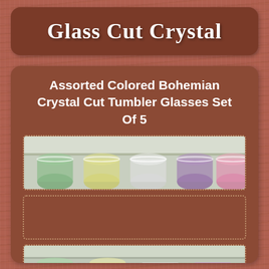Glass Cut Crystal
Assorted Colored Bohemian Crystal Cut Tumbler Glasses Set Of 5
[Figure (photo): Photo of assorted colored Bohemian crystal cut tumbler glasses viewed from above, showing green, yellow, purple, and pink glasses arranged in a row]
[Figure (photo): Second photo area with dotted border placeholder showing more colored crystal glasses]